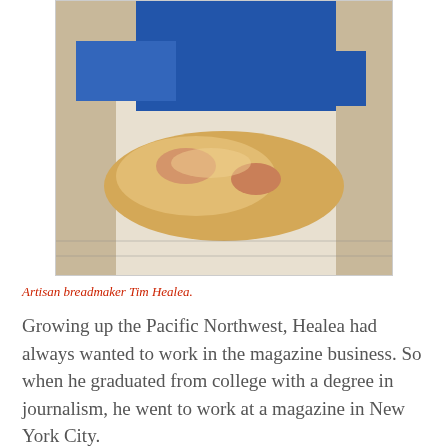[Figure (photo): Artisan breadmaker Tim Healea kneading dough, hands visible working with light-colored dough on a work surface]
Artisan breadmaker Tim Healea.
Growing up the Pacific Northwest, Healea had always wanted to work in the magazine business. So when he graduated from college with a degree in journalism, he went to work at a magazine in New York City.
“I started as an editor for a trade publisher that did magazines for restaurants and retail,” he said. “And I hated it. It was a corporate desk job and it just wasn’t me.”
[Figure (photo): Close-up photo of artisan bread loaves, dark crusty breads stacked on a rack or surface]